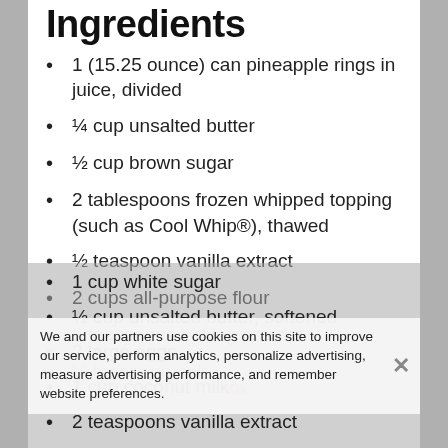Ingredients
1 (15.25 ounce) can pineapple rings in juice, divided
¼ cup unsalted butter
½ cup brown sugar
2 tablespoons frozen whipped topping (such as Cool Whip®), thawed
½ teaspoon vanilla extract
2 cups all-purpose flour
2 teaspoons baking powder
¼ teaspoon salt
1 cup white sugar
½ cup unsalted butter, softened
2 large eggs
1 cup coconut milk
2 teaspoons vanilla extract
We and our partners use cookies on this site to improve our service, perform analytics, personalize advertising, measure advertising performance, and remember website preferences.